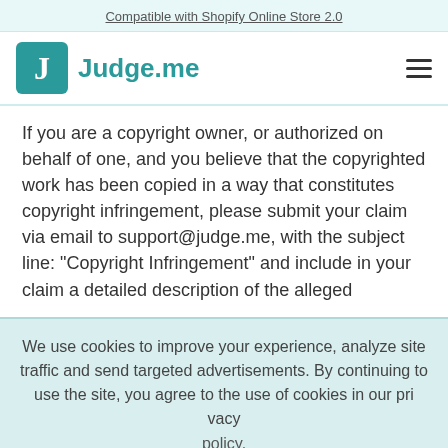Compatible with Shopify Online Store 2.0
[Figure (logo): Judge.me logo with teal J icon and brand name, plus hamburger menu icon]
If you are a copyright owner, or authorized on behalf of one, and you believe that the copyrighted work has been copied in a way that constitutes copyright infringement, please submit your claim via email to support@judge.me, with the subject line: "Copyright Infringement" and include in your claim a detailed description of the alleged
We use cookies to improve your experience, analyze site traffic and send targeted advertisements. By continuing to use the site, you agree to the use of cookies in our privacy policy.
Ok